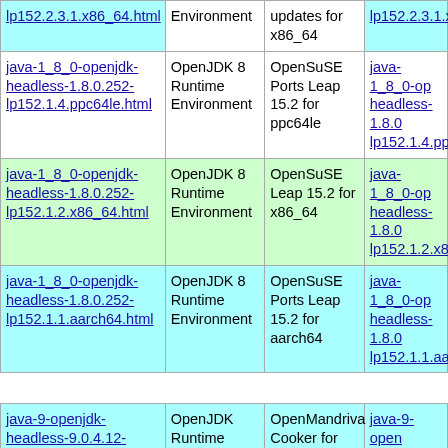| Package | Description | Distribution | Link |
| --- | --- | --- | --- |
| lp152.2.3.1.x86_64.html | Environment | updates for x86_64 | lp152.2.3.1.x… |
| java-1_8_0-openjdk-headless-1.8.0.252-lp152.1.4.ppc64le.html | OpenJDK 8 Runtime Environment | OpenSuSE Ports Leap 15.2 for ppc64le | java-1_8_0-op headless-1.8.0 lp152.1.4.ppc6… |
| java-1_8_0-openjdk-headless-1.8.0.252-lp152.1.2.x86_64.html | OpenJDK 8 Runtime Environment | OpenSuSE Leap 15.2 for x86_64 | java-1_8_0-op headless-1.8.0 lp152.1.2.x86… |
| java-1_8_0-openjdk-headless-1.8.0.252-lp152.1.1.aarch64.html | OpenJDK 8 Runtime Environment | OpenSuSE Ports Leap 15.2 for aarch64 | java-1_8_0-op headless-1.8.0 lp152.1.1.aarc… |
| java-9-openjdk-headless-9.0.4.12-3.aarch64.html | OpenJDK Runtime Environment | OpenMandriva Cooker for aarch64 | java-9-open 9.0.4.12-3.a… |
| java-9-openjdk-headless-9.0.4.12-3.aarch64.html | OpenJDK Runtime Environment | OpenMandriva 4.3 for aarch64 | java-9-open 9.0.4.12-3.a… |
| java-9-openjdk-headless-9.0.4.12-3.x86_64.html | OpenJDK Runtime Environment | OpenMandriva Cooker for x86_64 | java-9-open 9.0.4.12-3.x… |
| java-9-openjdk-headless-… | OpenJDK | OpenMandriva | java-9-… |